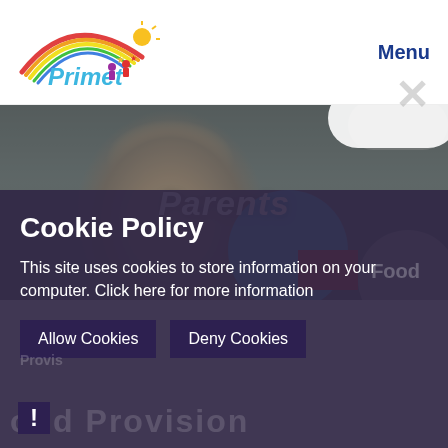[Figure (logo): Primet school logo with rainbow arc and colorful figure icons and stars]
Menu
[Figure (photo): Child wearing a cat-eared beanie hat, looking down, in a darkened classroom setting. Text 'Parents' overlaid in white italic script.]
Cookie Policy
This site uses cookies to store information on your computer. Click here for more information
Allow Cookies
Deny Cookies